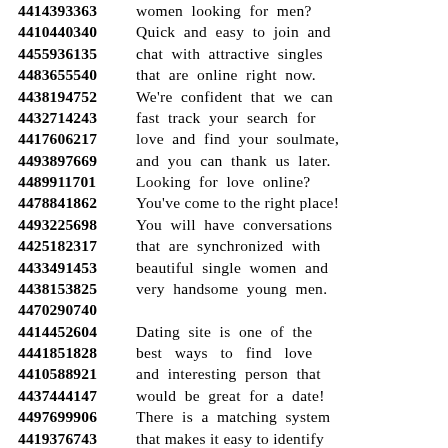4414393363 women looking for men?
4410440340 Quick and easy to join and
4455936135 chat with attractive singles
4483655540 that are online right now.
4438194752 We're confident that we can
4432714243 fast track your search for
4417606217 love and find your soulmate,
4493897669 and you can thank us later.
4489911701 Looking for love online?
4478841862 You've come to the right place!
4493225698 You will have conversations
4425182317 that are synchronized with
4433491453 beautiful single women and
4438153825 very handsome young men.
4470290740
4414452604 Dating site is one of the
4441851828 best ways to find love
4410588921 and interesting person that
4437444147 would be great for a date!
4497699906 There is a matching system
4419376743 that makes it easy to identify
4454415513 the user profiles are created!
4439183669 Want to get into marriage?
4415362778 Trying to find some friends?
4486948808 The dating landscape looks
4413598631 very different today.